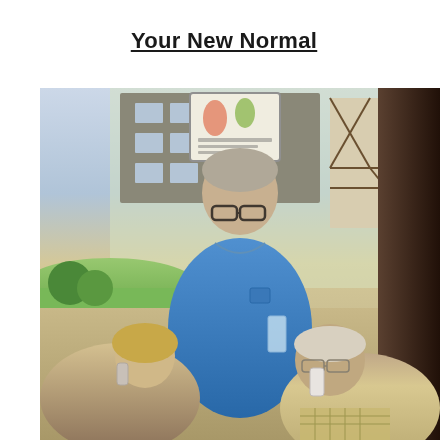Your New Normal
[Figure (photo): Three older adults gathered around a table near a window overlooking a garden. A man in a blue polo shirt stands in the middle looking down. On the left, a woman with blonde hair holds a phone to her ear and smiles. On the right, another person holds a phone to their ear. A decorative sign/poster hangs in the window behind them. A building and garden are visible through the window.]